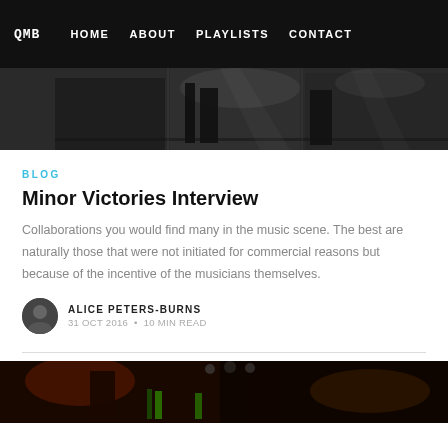QMB   HOME   ABOUT   PLAYLISTS   CONTACT
[Figure (photo): Black and white concert/live music performance photo strip]
BLOG
Minor Victories Interview
Collaborations you would find many in the music scene. The best are naturally those that were not initiated for commercial reasons but because of the incentive of the musicians themselves.
ALICE PETERS-BURNS
31 OCT 2016 • 10 MIN READ
[Figure (photo): Color concert photo showing musicians on stage with green bottle highlights in dark venue]